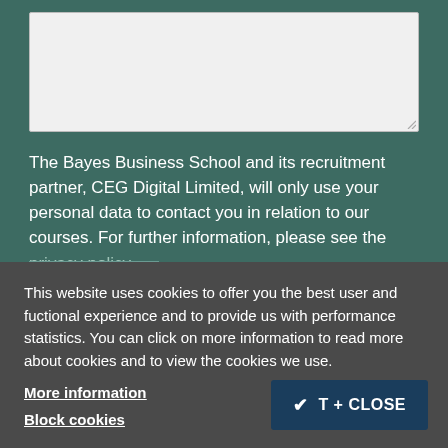[Figure (other): Textarea input box (form element, light gray background)]
The Bayes Business School and its recruitment partner, CEG Digital Limited, will only use your personal data to contact you in relation to our courses. For further information, please see the privacy policy.
This website uses cookies to offer you the best user and fuctional experience and to provide us with performance statistics. You can click on more information to read more about cookies and to view the cookies we use.
More information
Block cookies
✔ T + CLOSE